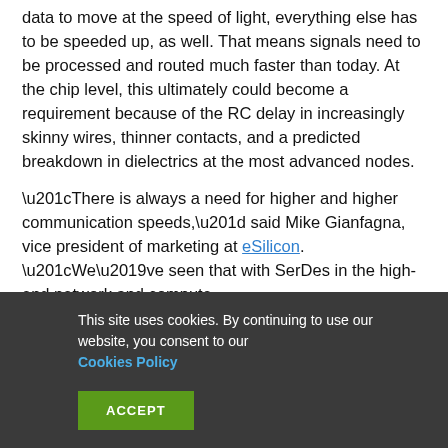data to move at the speed of light, everything else has to be speeded up, as well. That means signals need to be processed and routed much faster than today. At the chip level, this ultimately could become a requirement because of the RC delay in increasingly skinny wires, thinner contacts, and a predicted breakdown in dielectrics at the most advanced nodes.
“There is always a need for higher and higher communication speeds,” said Mike Gianfagna, vice president of marketing at eSilicon. “We’ve seen that with SerDes in the high-end network and compute
This site uses cookies. By continuing to use our website, you consent to our Cookies Policy
ACCEPT